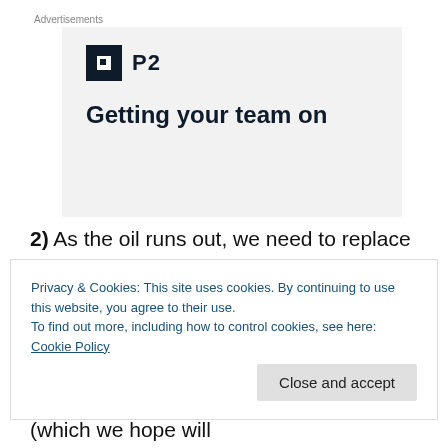[Figure (other): Advertisement banner with P2 logo and text 'Getting your team on...']
2) As the oil runs out, we need to replace it if we are to keep our vehicles going. Oil is both a convenient energy carrier, and an energy source (we 'mine' it).  In the future,
Privacy & Cookies: This site uses cookies. By continuing to use this website, you agree to their use.
To find out more, including how to control cookies, see here: Cookie Policy
Close and accept
3) With a growing human population (which we hope will